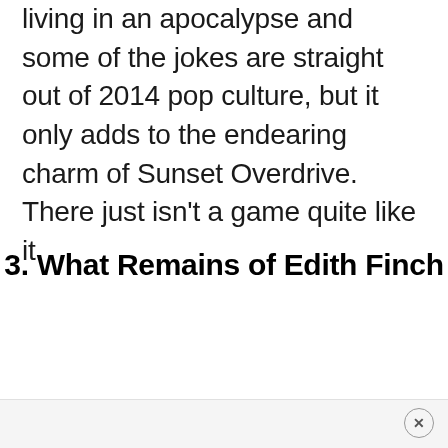living in an apocalypse and some of the jokes are straight out of 2014 pop culture, but it only adds to the endearing charm of Sunset Overdrive. There just isn't a game quite like it.
3. What Remains of Edith Finch